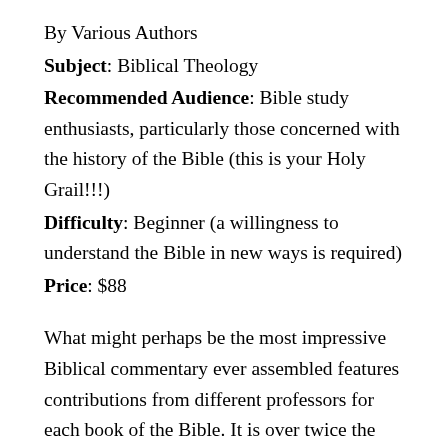By Various Authors
Subject: Biblical Theology
Recommended Audience: Bible study enthusiasts, particularly those concerned with the history of the Bible (this is your Holy Grail!!!)
Difficulty: Beginner (a willingness to understand the Bible in new ways is required)
Price: $88
What might perhaps be the most impressive Biblical commentary ever assembled features contributions from different professors for each book of the Bible. It is over twice the size of a standard bible because of its incredible depth, and it provides the historical contexts, authorships,